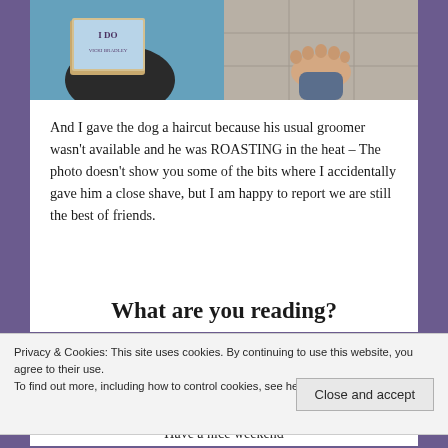[Figure (photo): Two photos side by side: left shows a person holding a book titled 'I Do' by Vicki Bradley over a pool; right shows bare feet on tile flooring.]
And I gave the dog a haircut because his usual groomer wasn't available and he was ROASTING in the heat – The photo doesn't show you some of the bits where I accidentally gave him a close shave, but I am happy to report we are still the best of friends.
What are you reading?
Privacy & Cookies: This site uses cookies. By continuing to use this website, you agree to their use.
To find out more, including how to control cookies, see here: Cookie Policy
Close and accept
Have a nice weekend